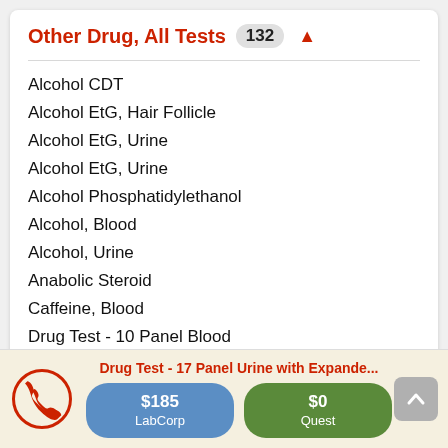Other Drug, All Tests 132
Alcohol CDT
Alcohol EtG, Hair Follicle
Alcohol EtG, Urine
Alcohol EtG, Urine
Alcohol Phosphatidylethanol
Alcohol, Blood
Alcohol, Urine
Anabolic Steroid
Caffeine, Blood
Drug Test - 10 Panel Blood
Drug Test - 10 Panel Urine
Drug Test - 10 Panel Urine RAPID
Drug Test - 17 Panel Urine with Expande...
$185 LabCorp
$0 Quest